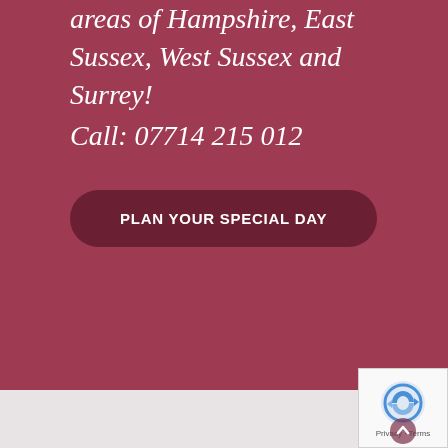areas of Hampshire, East Sussex, West Sussex and Surrey!
Call: 07714 215 012
PLAN YOUR SPECIAL DAY
[Figure (other): reCAPTCHA verification widget with Privacy and Terms links]
Privacy · Terms